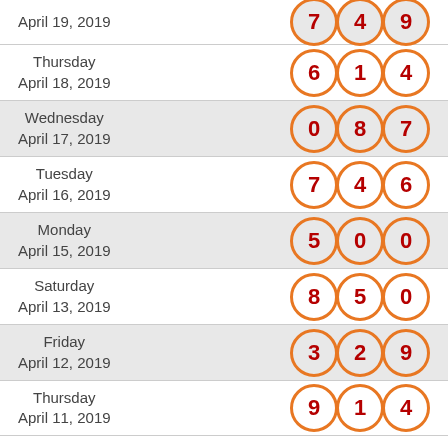April 19, 2019 — 7 4 9
Thursday April 18, 2019 — 6 1 4
Wednesday April 17, 2019 — 0 8 7
Tuesday April 16, 2019 — 7 4 6
Monday April 15, 2019 — 5 0 0
Saturday April 13, 2019 — 8 5 0
Friday April 12, 2019 — 3 2 9
Thursday April 11, 2019 — 9 1 4